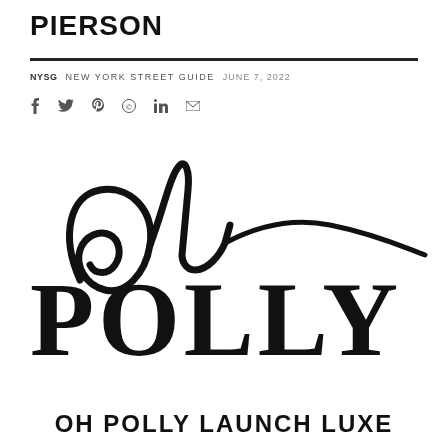PIERSON
NYSG  NEW YORK STREET GUIDE  JUNE 7, 2022
[Figure (logo): Oh Polly brand logo with cursive 'oh' script above bold serif 'POLLY' text]
OH POLLY LAUNCH LUXE